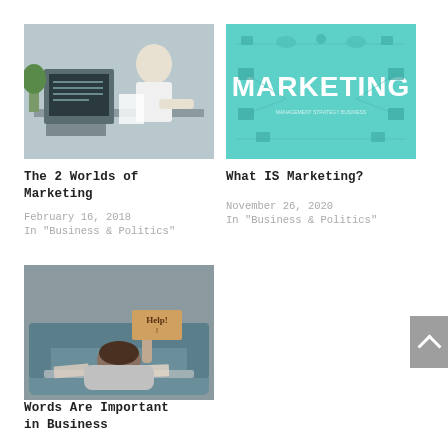[Figure (photo): Person working at an old computer/typewriter in an office setting]
The 2 Worlds of Marketing
February 16, 2018
In "Business & Politics"
[Figure (photo): Marketing concept graphic with teal background and bold text 'MARKETING']
What IS Marketing?
November 26, 2020
In "Business & Politics"
[Figure (photo): Person slumped over a table holding a 'Help!' sign, sitting on a blue couch]
Words Are Important in Business
May 29, 2022
In "Business & Politics"